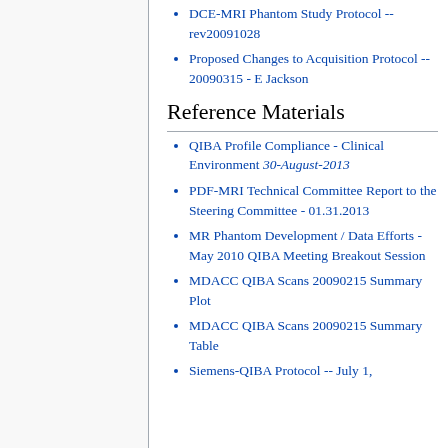DCE-MRI Phantom Study Protocol -- rev20091028
Proposed Changes to Acquisition Protocol -- 20090315 - E Jackson
Reference Materials
QIBA Profile Compliance - Clinical Environment 30-August-2013
PDF-MRI Technical Committee Report to the Steering Committee - 01.31.2013
MR Phantom Development / Data Efforts - May 2010 QIBA Meeting Breakout Session
MDACC QIBA Scans 20090215 Summary Plot
MDACC QIBA Scans 20090215 Summary Table
Siemens-QIBA Protocol -- July 1,